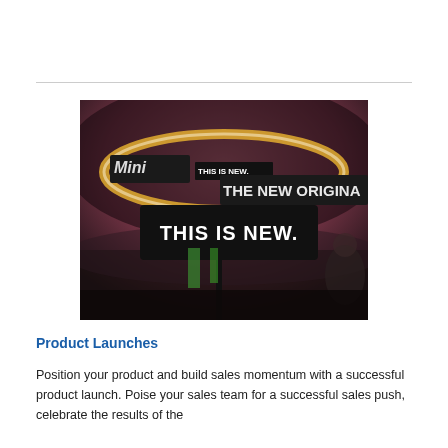[Figure (photo): A dark sign reading 'THIS IS NEW.' displayed prominently in the foreground at what appears to be a product launch or trade show event, with glowing signs including 'THE NEW ORIGINA' and 'Mini' visible in the blurred background.]
Product Launches
Position your product and build sales momentum with a successful product launch. Poise your sales team for a successful sales push, celebrate the results of the